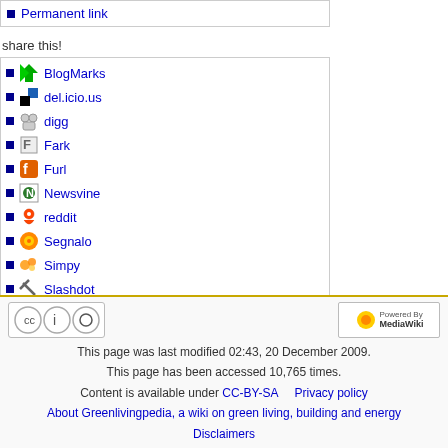Permanent link
share this!
BlogMarks
del.icio.us
digg
Fark
Furl
Newsvine
reddit
Segnalo
Simpy
Slashdot
smarking
Spurl
Wists
This page was last modified 02:43, 20 December 2009. This page has been accessed 10,765 times. Content is available under CC-BY-SA Privacy policy About Greenlivingpedia, a wiki on green living, building and energy Disclaimers